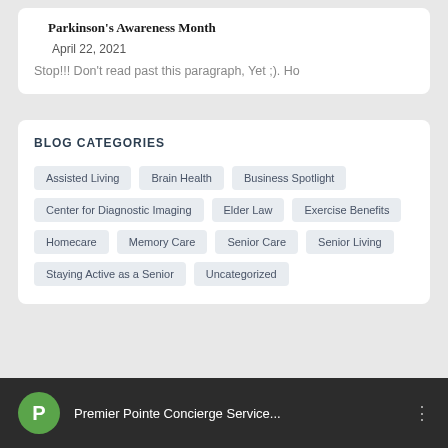Parkinson's Awareness Month
April 22, 2021
Stop!!! Don't read past this paragraph, Yet ;). Ho
BLOG CATEGORIES
Assisted Living
Brain Health
Business Spotlight
Center for Diagnostic Imaging
Elder Law
Exercise Benefits
Homecare
Memory Care
Senior Care
Senior Living
Staying Active as a Senior
Uncategorized
Premier Pointe Concierge Service...